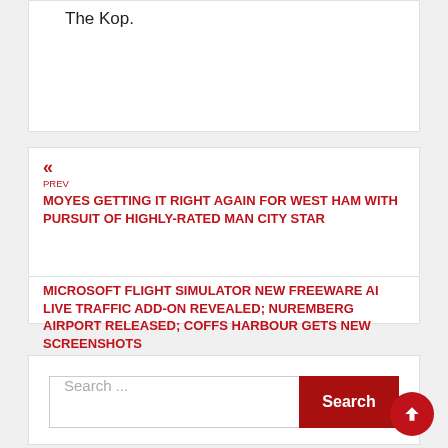The Kop.
« PREV
MOYES GETTING IT RIGHT AGAIN FOR WEST HAM WITH PURSUIT OF HIGHLY-RATED MAN CITY STAR
MICROSOFT FLIGHT SIMULATOR NEW FREEWARE AI LIVE TRAFFIC ADD-ON REVEALED; NUREMBERG AIRPORT RELEASED; COFFS HARBOUR GETS NEW SCREENSHOTS »
Search ...